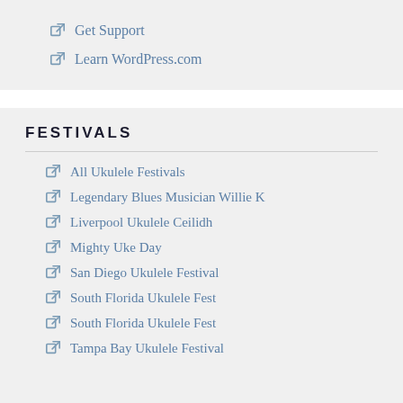Get Support
Learn WordPress.com
FESTIVALS
All Ukulele Festivals
Legendary Blues Musician Willie K
Liverpool Ukulele Ceilidh
Mighty Uke Day
San Diego Ukulele Festival
South Florida Ukulele Fest
South Florida Ukulele Fest
Tampa Bay Ukulele Festival